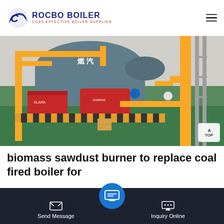[Figure (logo): Rocbo Boiler logo with circular wave icon and text 'ROCBO BOILER - COST-EFFECTIVE BOILER SUPPLIER']
[Figure (photo): Industrial boiler facility showing large blue cylindrical boilers with red burners, yellow piping, and black-and-yellow safety striping on the floor]
biomass sawdust burner to replace coal fired boiler for
biomass sawdust burner suppliers...industrial...ame...
[Figure (other): Bottom navigation bar with Send Message, email FAB button, and Inquiry Online buttons on dark background]